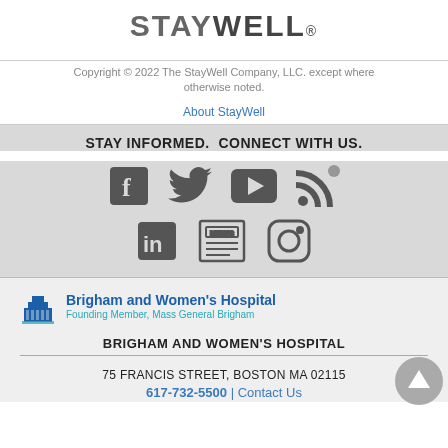[Figure (logo): StayWell logo in gray sans-serif text]
Copyright © 2022 The StayWell Company, LLC. except where otherwise noted.
About StayWell
STAY INFORMED.  CONNECT WITH US.
[Figure (illustration): Social media icons: Facebook, Twitter, YouTube, Blog/RSS, LinkedIn, News, Instagram]
[Figure (logo): Brigham and Women's Hospital logo with building icon and text 'Founding Member, Mass General Brigham']
BRIGHAM AND WOMEN'S HOSPITAL
75 FRANCIS STREET, BOSTON MA 02115
617-732-5500 | Contact Us